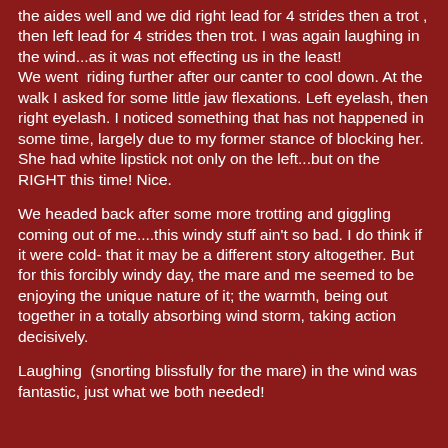the aides well and we did right lead for 4 strides then a trot , then left lead for 4 strides then trot. I was again laughing in the wind...as it was not effecting us in the least! We went  riding further after our canter to cool down. At the walk I asked for some little jaw flexations. Left eyelash, then right eyelash. I noticed something that has not happened in some time, largely due to my former stance of blocking her. She had white lipstick not only on the left...but on the RIGHT this time! Nice.
We headed back after some more trotting and giggling coming out of me....this windy stuff ain't so bad. I do think if it were cold- that it may be a different story altogether. But for this forcibly windy day, the mare and me seemed to be enjoying the unique nature of it; the warmth, being out together in a totally absorbing wind storm, taking action decisively.
Laughing  (snorting blissfully for the mare) in the wind was fantastic, just what we both needed!